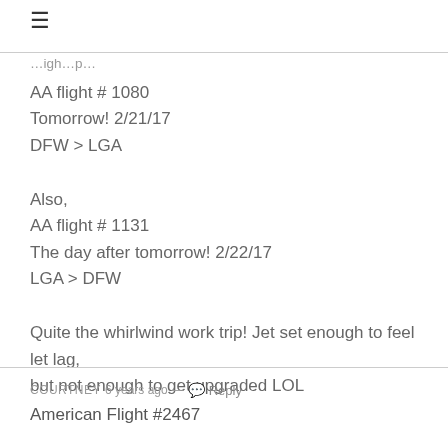≡
AA flight # 1080
Tomorrow! 2/21/17
DFW > LGA
Also,
AA flight # 1131
The day after tomorrow! 2/22/17
LGA > DFW
Quite the whirlwind work trip! Jet set enough to feel let lag, but not enough to get upgraded LOL
COURTNEY 6 years ago — 💬 Reply
American Flight #2467